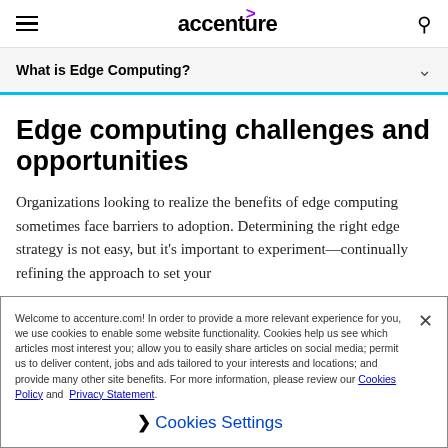accenture
What is Edge Computing?
Edge computing challenges and opportunities
Organizations looking to realize the benefits of edge computing sometimes face barriers to adoption. Determining the right edge strategy is not easy, but it’s important to experiment—continually refining the approach to set your
Welcome to accenture.com! In order to provide a more relevant experience for you, we use cookies to enable some website functionality. Cookies help us see which articles most interest you; allow you to easily share articles on social media; permit us to deliver content, jobs and ads tailored to your interests and locations; and provide many other site benefits. For more information, please review our Cookies Policy and Privacy Statement.
Cookies Settings